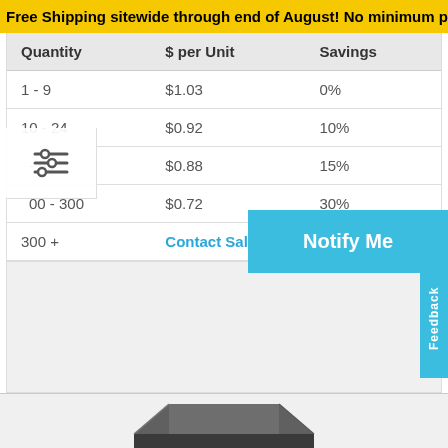Free Shipping sitewide through end of August! No minimum pu
| Quantity | $ per Unit | Savings |
| --- | --- | --- |
| 1 - 9 | $1.03 | 0% |
| 10 - 24 | $0.92 | 10% |
| - 99 | $0.88 | 15% |
| 00 - 300 | $0.72 | 30% |
| 300 + | Contact Sales → |  |
Notify Me
Feedback
[Figure (photo): Dark colored product component visible at bottom of page]